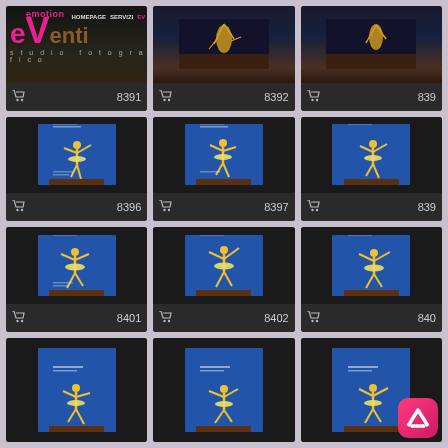[Figure (screenshot): Photography studio website gallery page showing eVenti emotion studio fotografico logo with navigation (HOMEPAGE, SERVIZI, EV...) and a grid of ballet dancer performance photos numbered 8391-8402+]
8391
8392
839...
8396
8397
839...
8401
8402
840...